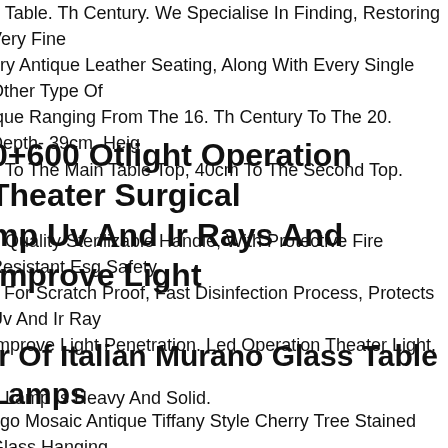p Table. Th Century. We Specialise In Finding, Restoring Very Fine ury Antique Leather Seating, Along With Every Single Other Type Of ique Ranging From The 16. Th Century To The 20. Depth- 39cm. Heig n To The Main Table Top, 40cm To The Second Top.
0+600 Otlight Operation Theater Surgical mp Uv And Ir Rays And Improve Light
n Quality Sterilizable Handle, With Protective Fire Resistant Esg Safety s For Scratch Proof, Fast Disinfection Process, Protects Uv And Ir Ray Improve Light Penetration. Led Operation Theater Light.
ir Of Italian Murano Glass Table Lamps
n Lamp Is Heavy And Solid.
ago Mosaic Antique Tiffany Style Cherry Tree Stained Glass Hanging p. Crown Is Removable, Shade Can Be Used As Hanging Lamp Or As efloor Lamp. Shade 24.5 In. Overall Good Condition, Did Spot Six